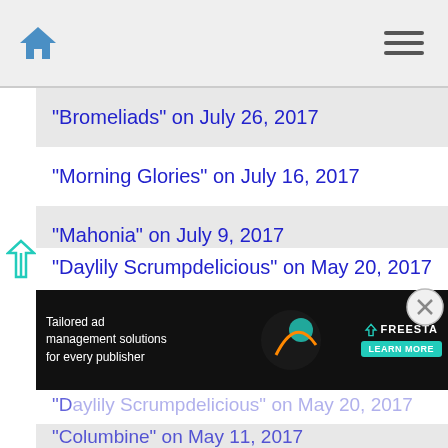Home navigation header with hamburger menu
"Bromeliads" on July 26, 2017
"Morning Glories" on July 16, 2017
"Mahonia" on July 9, 2017
"Noid Orchids" on July 2, 2017
"Lubber" on June 11, 2017
"Grapefruit Buds" on June 7, 2017
"Daylily Scrumpdelicious" on May 20, 2017
[Figure (infographic): Advertisement banner: Tailored ad management solutions for every publisher - FreeS ta logo with Learn More button]
"Columbine" on May 11, 2017